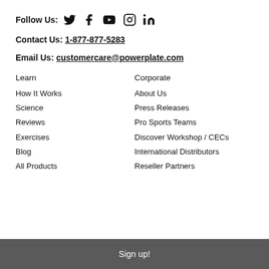Follow Us: [Twitter] [Facebook] [YouTube] [Instagram] [LinkedIn]
Contact Us: 1-877-877-5283
Email Us: customercare@powerplate.com
Learn
Corporate
How It Works
About Us
Science
Press Releases
Reviews
Pro Sports Teams
Exercises
Discover Workshop / CECs
Blog
International Distributors
All Products
Reseller Partners
Sign up!